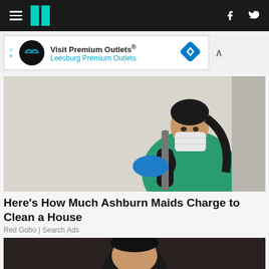HuffPost navigation bar with hamburger menu, logo, facebook and twitter icons
[Figure (screenshot): Advertisement banner: Visit Premium Outlets® / Leesburg Premium Outlets with logo and diamond icon]
[Figure (photo): Woman in green scrubs and black gloves wearing a face mask, holding a cleaning tool, posed against a white wall]
Here's How Much Ashburn Maids Charge to Clean a House
Red Gobo | Search Ads
[Figure (photo): Partial image of a dark-haired person visible at bottom of page]